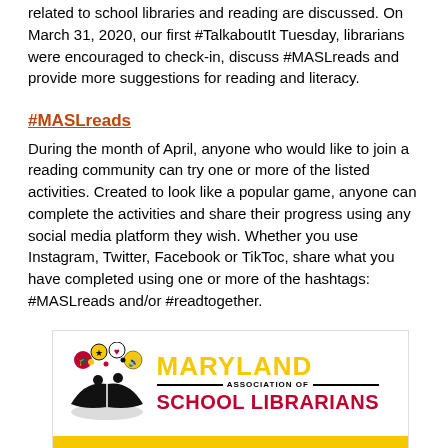related to school libraries and reading are discussed. On March 31, 2020, our first #TalkaboutIt Tuesday, librarians were encouraged to check-in, discuss #MASLreads and provide more suggestions for reading and literacy.
#MASLreads
During the month of April, anyone who would like to join a reading community can try one or more of the listed activities. Created to look like a popular game, anyone can complete the activities and share their progress using any social media platform they wish. Whether you use Instagram, Twitter, Facebook or TikToc, share what you have completed using one or more of the hashtags: #MASLreads and/or #readtogether.
[Figure (logo): Maryland Association of School Librarians logo with MASLMD Presents: #MASLREADS promotional material on yellow background]